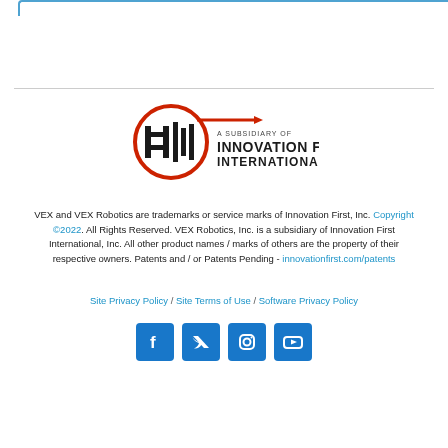[Figure (logo): Innovation First International logo - subsidiary badge with IFI graphic and red arrow]
VEX and VEX Robotics are trademarks or service marks of Innovation First, Inc. Copyright ©2022. All Rights Reserved. VEX Robotics, Inc. is a subsidiary of Innovation First International, Inc. All other product names / marks of others are the property of their respective owners. Patents and / or Patents Pending - innovationfirst.com/patents
Site Privacy Policy / Site Terms of Use / Software Privacy Policy
[Figure (illustration): Social media icons: Facebook, Twitter, Instagram, YouTube - blue square buttons]